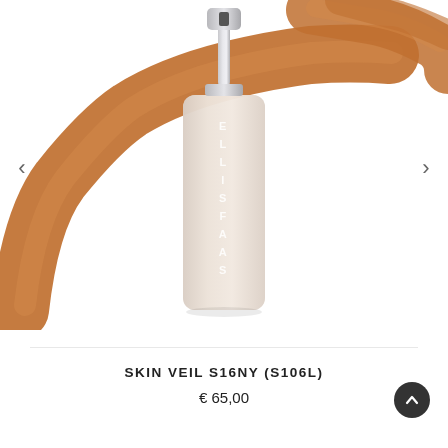[Figure (photo): Ellis Faas Skin Veil foundation bottle with silver pump cap, shown against white background with large brown/tan foundation swatches smeared behind it — one arc from lower-left curving up and another streak from upper-right.]
SKIN VEIL S16NY (S106L)
€ 65,00